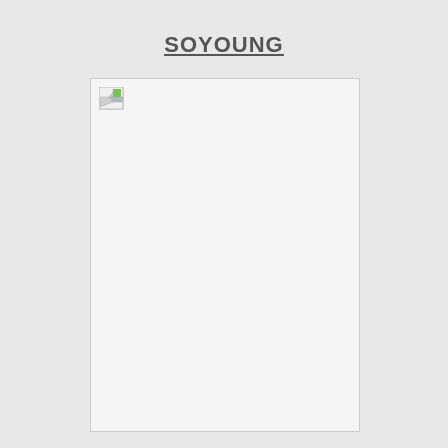SOYOUNG
[Figure (photo): A large image placeholder with a broken image icon in the top-left corner, showing a white/light gray rectangle with a thin border.]